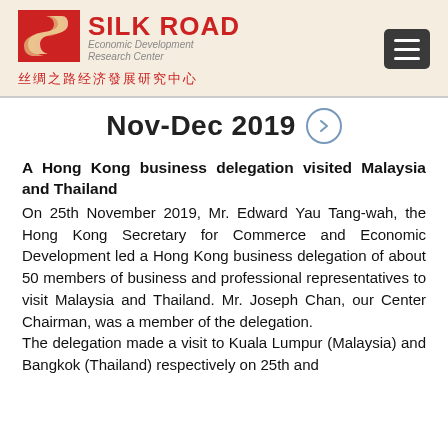[Figure (logo): Silk Road Economic Development Research Center logo with red S-shaped road icon, red bold text 'SILK ROAD', subtitle 'Economic Development Research Center', Chinese characters below, and hamburger menu icon on the right]
Nov-Dec 2019
A Hong Kong business delegation visited Malaysia and Thailand
On 25th November 2019, Mr. Edward Yau Tang-wah, the Hong Kong Secretary for Commerce and Economic Development led a Hong Kong business delegation of about 50 members of business and professional representatives to visit Malaysia and Thailand. Mr. Joseph Chan, our Center Chairman, was a member of the delegation.
The delegation made a visit to Kuala Lumpur (Malaysia) and Bangkok (Thailand) respectively on 25th and